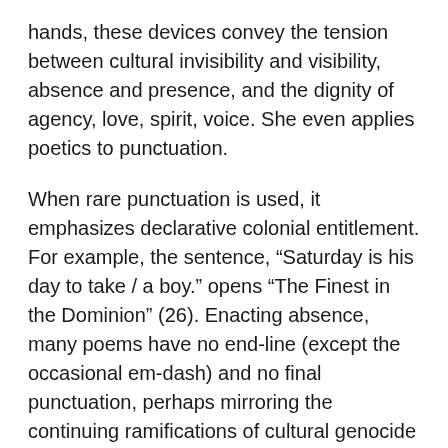hands, these devices convey the tension between cultural invisibility and visibility, absence and presence, and the dignity of agency, love, spirit, voice. She even applies poetics to punctuation.
When rare punctuation is used, it emphasizes declarative colonial entitlement. For example, the sentence, “Saturday is his day to take / a boy.” opens “The Finest in the Dominion” (26). Enacting absence, many poems have no end-line (except the occasional em-dash) and no final punctuation, perhaps mirroring the continuing ramifications of cultural genocide and intergenerational trauma. In “The Apology,” for example, “the story endures— / a sucking wound” (57).
The collection’s launch occurred just after the Truth and Reconciliation Commission’s final December 2015